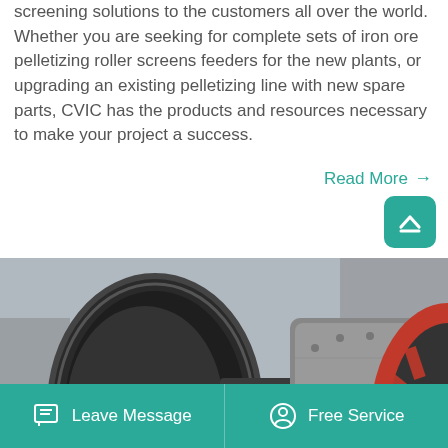screening solutions to the customers all over the world. Whether you are seeking for complete sets of iron ore pelletizing roller screens feeders for the new plants, or upgrading an existing pelletizing line with new spare parts, CVIC has the products and resources necessary to make your project a success.
Read More →
[Figure (photo): Industrial ball mill machinery with large cylindrical drum, bolted flanges, and red gear ring, photographed outdoors. Watermark: hnhx.en.alibaba.com]
Leave Message   Free Service